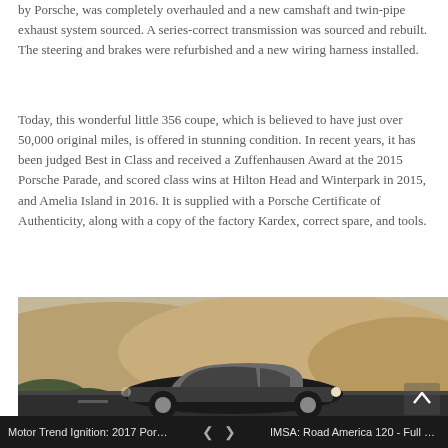by Porsche, was completely overhauled and a new camshaft and twin-pipe exhaust system sourced. A series-correct transmission was sourced and rebuilt. The steering and brakes were refurbished and a new wiring harness installed.
Today, this wonderful little 356 coupe, which is believed to have just over 50,000 original miles, is offered in stunning condition. In recent years, it has been judged Best in Class and received a Zuffenhausen Award at the 2015 Porsche Parade, and scored class wins at Hilton Head and Winterpark in 2015, and Amelia Island in 2016. It is supplied with a Porsche Certificate of Authenticity, along with a copy of the factory Kardex, correct spare, and tools.
[Figure (photo): Photograph of a classic Porsche 356 coupe in silver/grey color driving on a road with golden dry hills in the background. A chevron/up arrow button is visible in the lower right of the image.]
Motor Trend Ignition: 2017 Porsc...   <   >   IMSA: Road America 120 - Full Ra...